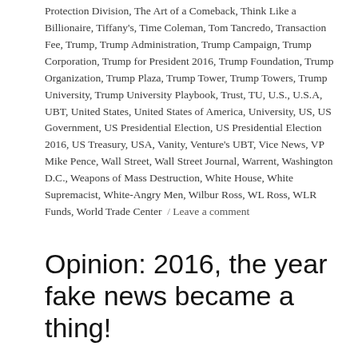Protection Division, The Art of a Comeback, Think Like a Billionaire, Tiffany's, Time Coleman, Tom Tancredo, Transaction Fee, Trump, Trump Administration, Trump Campaign, Trump Corporation, Trump for President 2016, Trump Foundation, Trump Organization, Trump Plaza, Trump Tower, Trump Towers, Trump University, Trump University Playbook, Trust, TU, U.S., U.S.A, UBT, United States, United States of America, University, US, US Government, US Presidential Election, US Presidential Election 2016, US Treasury, USA, Vanity, Venture's UBT, Vice News, VP Mike Pence, Wall Street, Wall Street Journal, Warrent, Washington D.C., Weapons of Mass Destruction, White House, White Supremacist, White-Angry Men, Wilbur Ross, WL Ross, WLR Funds, World Trade Center / Leave a comment
Opinion: 2016, the year fake news became a thing!